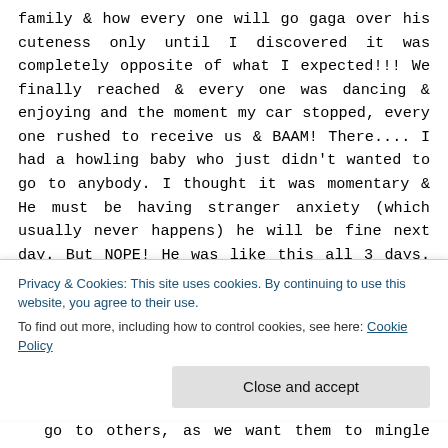family & how every one will go gaga over his cuteness only until I discovered it was completely opposite of what I expected!!! We finally reached & every one was dancing & enjoying and the moment my car stopped, every one rushed to receive us & BAAM! There.... I had a howling baby who just didn't wanted to go to anybody. I thought it was momentary & He must be having stranger anxiety (which usually never happens) he will be fine next day. But NOPE! He was like this all 3 days. It was a combination of new place, people...a lot of people & loud music.
I didn't go prepared for this at all & was quite a bummer...
Privacy & Cookies: This site uses cookies. By continuing to use this website, you agree to their use.
To find out more, including how to control cookies, see here: Cookie Policy
Close and accept
go to others, as we want them to mingle with our